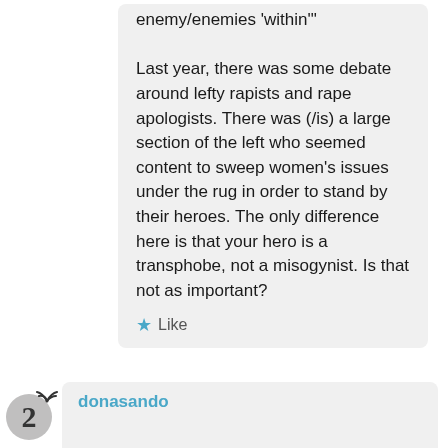enemy/enemies 'within'"

Last year, there was some debate around lefty rapists and rape apologists. There was (/is) a large section of the left who seemed content to sweep women's issues under the rug in order to stand by their heroes. The only difference here is that your hero is a transphobe, not a misogynist. Is that not as important?
Like
donasando